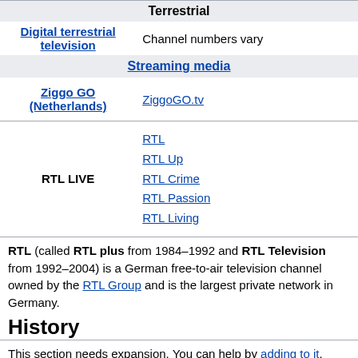| Terrestrial |
| --- |
| Digital terrestrial television | Channel numbers vary |
| Streaming media |  |
| Ziggo GO (Netherlands) | ZiggoGO.tv |
| RTL LIVE | RTL
RTL Up
RTL Crime
RTL Passion
RTL Living |
RTL (called RTL plus from 1984–1992 and RTL Television from 1992–2004) is a German free-to-air television channel owned by the RTL Group and is the largest private network in Germany.
History
This section needs expansion. You can help by adding to it. (February 2021)
RTL plus was famous in its early years for showing low-budget films and American programmes. In 1988, it was the second most-